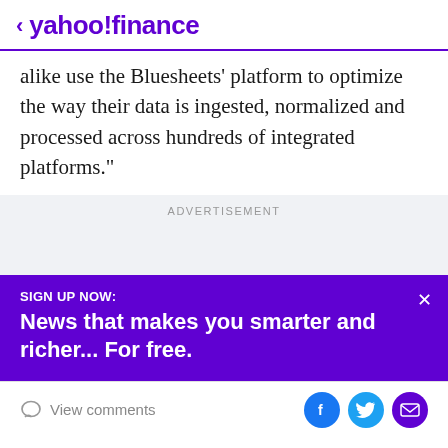< yahoo!finance
alike use the Bluesheets' platform to optimize the way their data is ingested, normalized and processed across hundreds of integrated platforms."
ADVERTISEMENT
SIGN UP NOW:
News that makes you smarter and richer... For free.
View comments